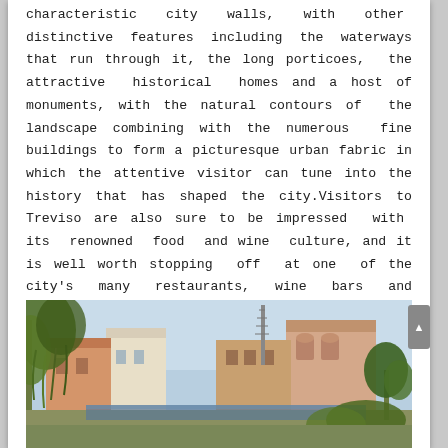characteristic city walls, with other distinctive features including the waterways that run through it, the long porticoes, the attractive historical homes and a host of monuments, with the natural contours of the landscape combining with the numerous fine buildings to form a picturesque urban fabric in which the attentive visitor can tune into the history that has shaped the city.Visitors to Treviso are also sure to be impressed with its renowned food and wine culture, and it is well worth stopping off at one of the city's many restaurants, wine bars and agritourist facilities.
[Figure (photo): Street scene in Treviso showing historic buildings along a waterway, with a communication tower visible in the background and trees in the foreground.]